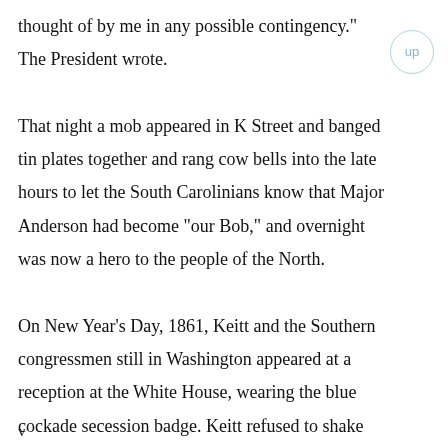thought of by me in any possible contingency." The President wrote.

That night a mob appeared in K Street and banged tin plates together and rang cow bells into the late hours to let the South Carolinians know that Major Anderson had become "our Bob," and overnight was now a hero to the people of the North.

On New Year's Day, 1861, Keitt and the Southern congressmen still in Washington appeared at a reception at the White House, wearing the blue cockade secession badge. Keitt refused to shake hands with the President as he passed through the reception line. The Northern
v